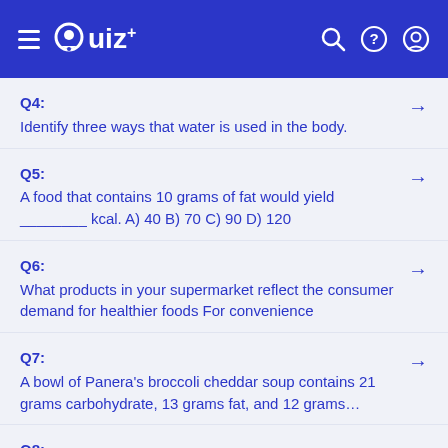Quiz+
Q4: Identify three ways that water is used in the body.
Q5: A food that contains 10 grams of fat would yield ________ kcal. A) 40 B) 70 C) 90 D) 120
Q6: What products in your supermarket reflect the consumer demand for healthier foods For convenience
Q7: A bowl of Panera’s broccoli cheddar soup contains 21 grams carbohydrate, 13 grams fat, and 12 grams…
Q8: List four Healthy People 2020 objectives for the United States. How would you rate yourself in each area Why